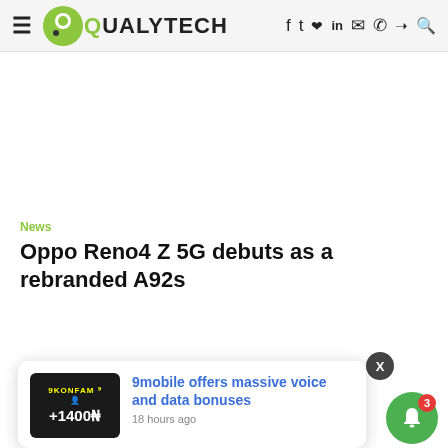QUALYTECH — navigation header with logo and social icons
News
Oppo Reno4 Z 5G debuts as a rebranded A92s
[Figure (screenshot): Notification popup showing '9mobile offers massive voice and data bonuses' with an image of a person and text '9KONFAM +1400' with timestamp '18 hours ago']